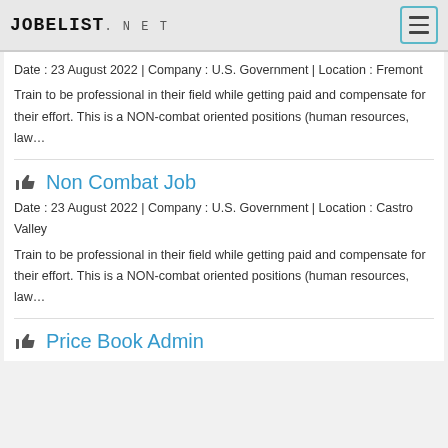JOBELIST.NET
Date : 23 August 2022 | Company : U.S. Government | Location : Fremont
Train to be professional in their field while getting paid and compensate for their effort. This is a NON-combat oriented positions (human resources, law…
Non Combat Job
Date : 23 August 2022 | Company : U.S. Government | Location : Castro Valley
Train to be professional in their field while getting paid and compensate for their effort. This is a NON-combat oriented positions (human resources, law…
Price Book Admin